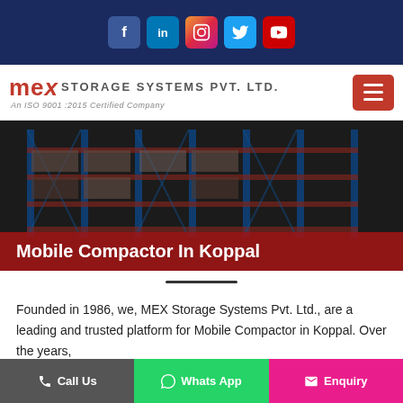Social media icons: Facebook, LinkedIn, Instagram, Twitter, YouTube
[Figure (logo): MEX Storage Systems Pvt. Ltd. logo with text 'An ISO 9001:2015 Certified Company']
[Figure (photo): Industrial warehouse storage rack shelving system, dark background with blue metal racks]
Mobile Compactor In Koppal
Founded in 1986, we, MEX Storage Systems Pvt. Ltd., are a leading and trusted platform for Mobile Compactor in Koppal. Over the years,
Call Us | Whats App | Enquiry